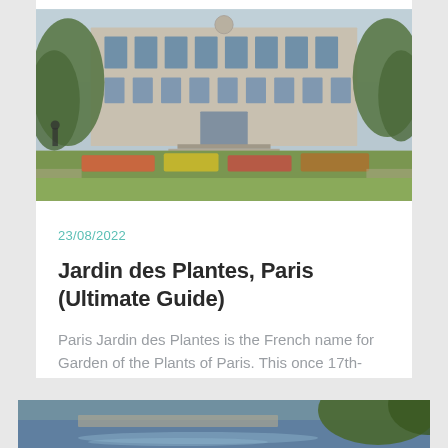[Figure (photo): Exterior photo of Jardin des Plantes in Paris, showing a large classical building facade with many windows, formal gardens with colorful flower beds in the foreground, and trees on either side.]
23/08/2022
Jardin des Plantes, Paris (Ultimate Guide)
Paris Jardin des Plantes is the French name for Garden of the Plants of Paris. This once 17th-century medicinal garden...
read full article >
[Figure (photo): Partial view of a second article photo showing water or a fountain feature with trees.]